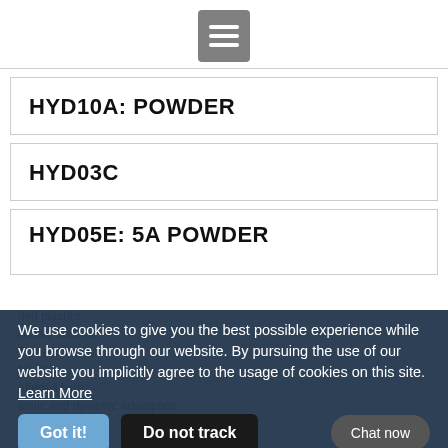[Figure (other): Hamburger menu icon — three horizontal white lines on a gray square button]
HYD10A: POWDER
HYD03C
HYD05E: 5A POWDER
We use cookies to give you the best possible experience while you browse through our website. By pursuing the use of our website you implicitly agree to the usage of cookies on this site.  Learn More
Got it!   Do not track   Chat now
HYG10AG